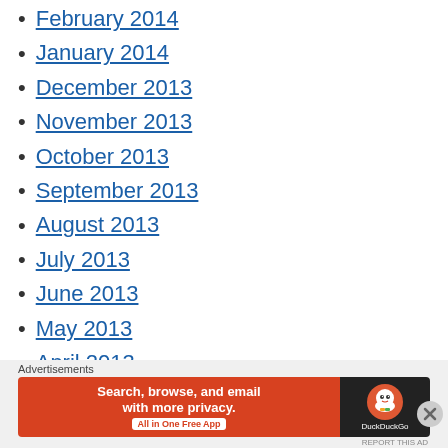February 2014
January 2014
December 2013
November 2013
October 2013
September 2013
August 2013
July 2013
June 2013
May 2013
April 2013
March 2013
February 2013
January 2013
Advertisements
[Figure (screenshot): DuckDuckGo advertisement banner: Search, browse, and email with more privacy. All in One Free App.]